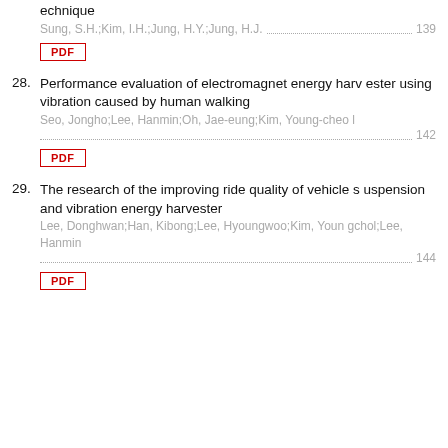echnique
Sung, S.H.;Kim, I.H.;Jung, H.Y.;Jung, H.J. ············ 139
PDF
28. Performance evaluation of electromagnet energy harvester using vibration caused by human walking
Seo, Jongho;Lee, Hanmin;Oh, Jae-eung;Kim, Young-cheol ···················································· 142
PDF
29. The research of the improving ride quality of vehicle suspension and vibration energy harvester
Lee, Donghwan;Han, Kibong;Lee, Hyoungwoo;Kim, Youngchol;Lee, Hanmin ···································· 144
PDF